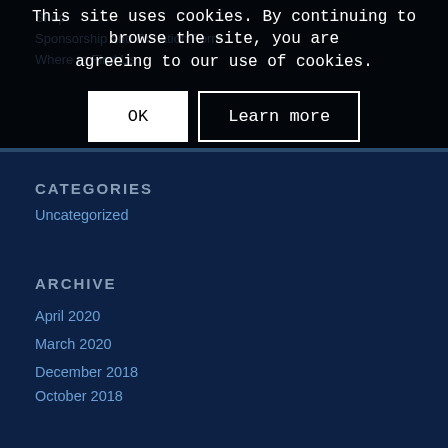Shop
Sponsorship and Donation Form
Where to Find Us
This site uses cookies. By continuing to browse the site, you are agreeing to our use of cookies.
OK
Learn more
CATEGORIES
Uncategorized
ARCHIVE
April 2020
March 2020
December 2018
October 2018